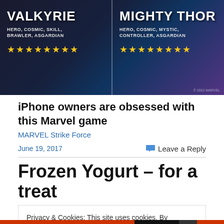[Figure (illustration): Advertisement banner showing two Marvel characters: Valkyrie (left, labeled HERO, COSMIC, SKILL, BRAWLER, ASGARDIAN with 8 gold stars) and Mighty Thor (right, labeled HERO, COSMIC, MYSTIC, CONTROLLER, ASGARDIAN with 8 gold stars) on a dark purple/blue background for MARVEL Strike Force game.]
iPhone owners are obsessed with this Marvel game
MARVEL Strike Force
June 19, 2017
Leave a Reply
Frozen Yogurt – for a treat
Privacy & Cookies: This site uses cookies. By continuing to use this website, you agree to their use.
To find out more, including how to control cookies, see here: Cookie Policy
Close and accept